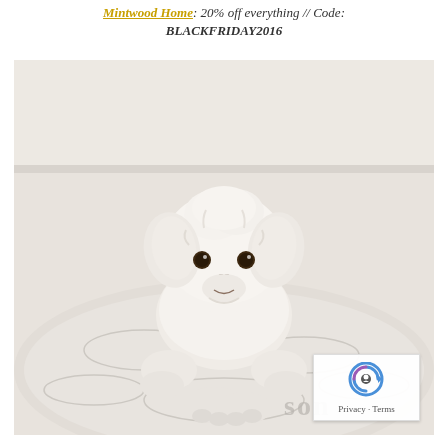Mintwood Home: 20% off everything // Code: BLACKFRIDAY2016
[Figure (photo): A small white fluffy dog (Maltese or similar breed) lying on a white fluffy pet bed, looking directly at the camera. The dog has soft curly white fur, small brown eyes, and a dark nose. In the lower right corner of the image there is a partially visible text on the bed. The background is a light beige/white wall.]